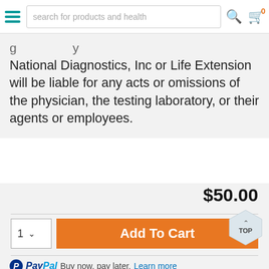search for products and health
National Diagnostics, Inc or Life Extension will be liable for any acts or omissions of the physician, the testing laboratory, or their agents or employees.
$50.00
1  Add To Cart
TOP
PayPal Buy now, pay later. Learn more